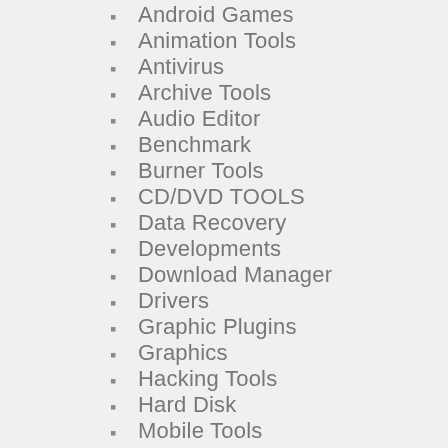Android Games
Animation Tools
Antivirus
Archive Tools
Audio Editor
Benchmark
Burner Tools
CD/DVD TOOLS
Data Recovery
Developments
Download Manager
Drivers
Graphic Plugins
Graphics
Hacking Tools
Hard Disk
Mobile Tools